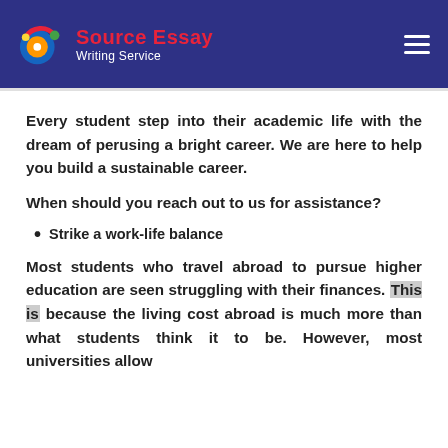[Figure (logo): Source Essay Writing Service logo with colorful circular icon on dark blue header background]
Every student step into their academic life with the dream of perusing a bright career. We are here to help you build a sustainable career.
When should you reach out to us for assistance?
Strike a work-life balance
Most students who travel abroad to pursue higher education are seen struggling with their finances. This is because the living cost abroad is much more than what students think it to be. However, most universities allow